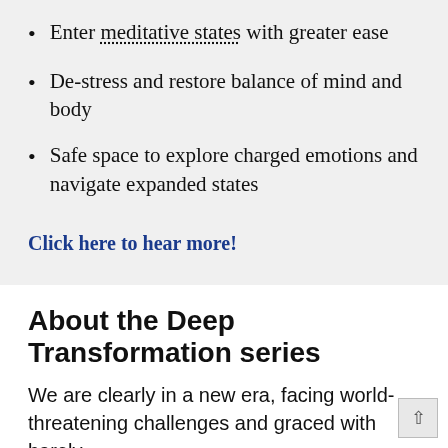Enter meditative states with greater ease
De-stress and restore balance of mind and body
Safe space to explore charged emotions and navigate expanded states
Click here to hear more!
About the Deep Transformation series
We are clearly in a new era, facing world-threatening challenges and graced with barely